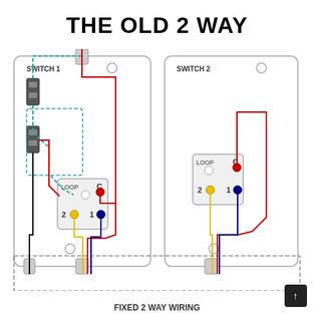THE OLD 2 WAY
[Figure (engineering-diagram): Two-way switch wiring diagram showing Switch 1 (left) and Switch 2 (right) with colored wires (red, blue, yellow, black, green) connecting terminal blocks labeled LOOP, C, 1, 2. Switch 1 has additional loop wiring shown with dashed green lines. Cable entry points shown at top and bottom. Bottom label reads FIXED 2 WAY WIRING.]
FIXED 2 WAY WIRING